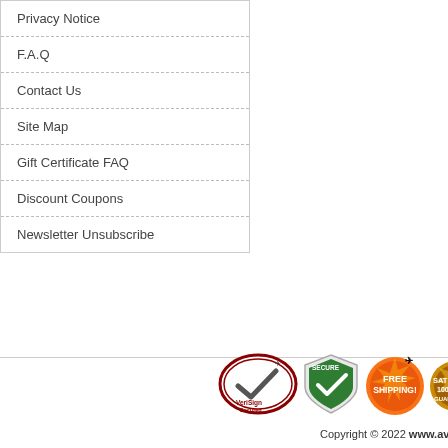Privacy Notice
F.A.Q
Contact Us
Site Map
Gift Certificate FAQ
Discount Coupons
Newsletter Unsubscribe
There currently are 10 guests online.
[Figure (logo): VeriSign Secured badge, Secure shield badge, Free Shipping badge, Satisfaction Guarantee badge (partially visible)]
Copyright © 2022 www.av...